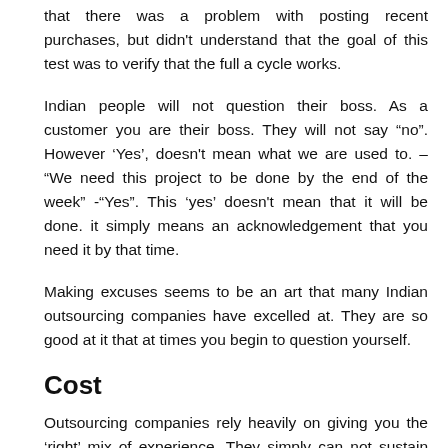that there was a problem with posting recent purchases, but didn't understand that the goal of this test was to verify that the full a cycle works.
Indian people will not question their boss. As a customer you are their boss. They will not say “no”. However ‘Yes’, doesn't mean what we are used to. – “We need this project to be done by the end of the week” -“Yes”. This ‘yes’ doesn't mean that it will be done. it simply means an acknowledgement that you need it by that time.
Making excuses seems to be an art that many Indian outsourcing companies have excelled at. They are so good at it that at times you begin to question yourself.
Cost
Outsourcing companies rely heavily on giving you the ‘right’ mix of experience. They simply can not sustain low rates by providing senior staff. The biggest smoke screen you’ll get is a concept called ‘blended rate’. The sales pitch goes something like this: